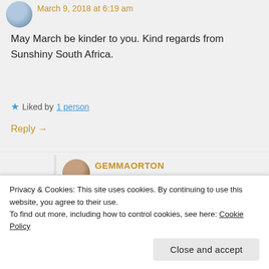March 9, 2018 at 6:19 am
May March be kinder to you. Kind regards from Sunshiny South Africa.
Liked by 1 person
Reply →
GEMMAORTON
March 11, 2018 at 7:37 pm
Thank you! March seems to be improving 😊
Privacy & Cookies: This site uses cookies. By continuing to use this website, you agree to their use.
To find out more, including how to control cookies, see here: Cookie Policy
Close and accept